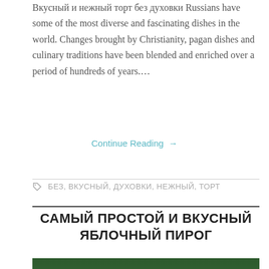Вкусный и нежный торт без духовки Russians have some of the most diverse and fascinating dishes in the world. Changes brought by Christianity, pagan dishes and culinary traditions have been blended and enriched over a period of hundreds of years….
Continue Reading →
БЕЗ, ВКУСНЫЙ, ДУХОВКИ, НЕЖНЫЙ, ТОРТ
САМЫЙ ПРОСТОЙ И ВКУСНЫЙ ЯБЛОЧНЫЙ ПИРОГ
[Figure (photo): Photo of an apple pie on a white plate against a dark green background, showing a golden-brown crumble-topped pie dusted with powdered sugar]